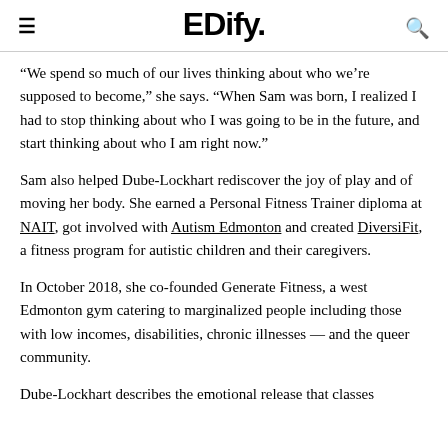EDify.
“We spend so much of our lives thinking about who we’re supposed to become,” she says. “When Sam was born, I realized I had to stop thinking about who I was going to be in the future, and start thinking about who I am right now.”
Sam also helped Dube-Lockhart rediscover the joy of play and of moving her body. She earned a Personal Fitness Trainer diploma at NAIT, got involved with Autism Edmonton and created DiversiFit, a fitness program for autistic children and their caregivers.
In October 2018, she co-founded Generate Fitness, a west Edmonton gym catering to marginalized people including those with low incomes, disabilities, chronic illnesses — and the queer community.
Dube-Lockhart describes the emotional release that classes